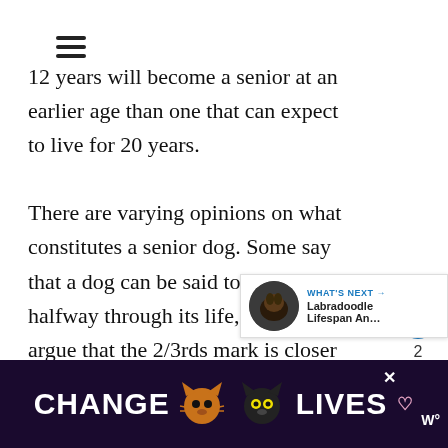☰ (hamburger menu icon)
12 years will become a senior at an earlier age than one that can expect to live for 20 years.
There are varying opinions on what constitutes a senior dog. Some say that a dog can be said to be a senior halfway through its life, while others argue that the 2/3rds mark is closer to the truth.
[Figure (infographic): WHAT'S NEXT → Labradoodle Lifespan An...  with circular dog photo thumbnail]
[Figure (infographic): Advertisement banner: CHANGE LIVES with cat photos on dark purple background, close X button, and W° logo]